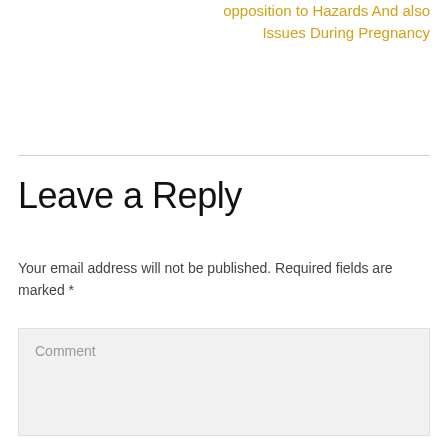opposition to Hazards And also Issues During Pregnancy
Leave a Reply
Your email address will not be published. Required fields are marked *
Comment